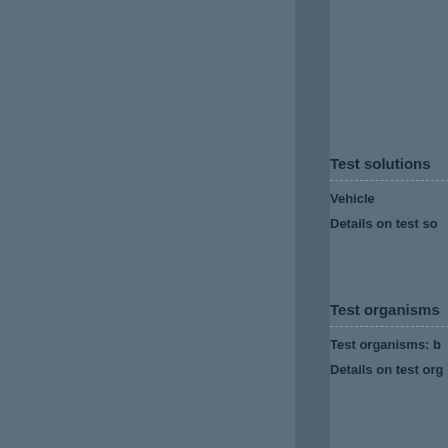Test solutions
Vehicle
Details on test so...
Test organisms
Test organisms: b...
Details on test org...